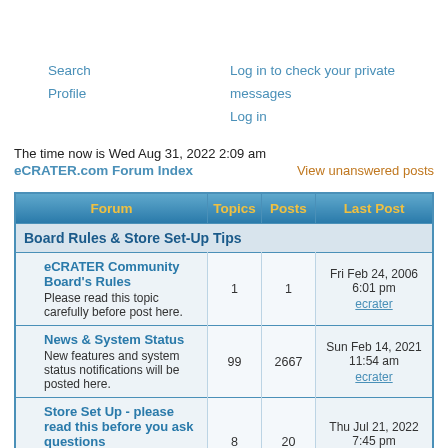Search   Profile   Log in to check your private messages   Log in
The time now is Wed Aug 31, 2022 2:09 am
eCRATER.com Forum Index    View unanswered posts
| Forum | Topics | Posts | Last Post |
| --- | --- | --- | --- |
| Board Rules & Store Set-Up Tips |  |  |  |
| eCRATER Community Board's Rules
Please read this topic carefully before post here. | 1 | 1 | Fri Feb 24, 2006 6:01 pm
ecrater |
| News & System Status
New features and system status notifications will be posted here. | 99 | 2667 | Sun Feb 14, 2021 11:54 am
ecrater |
| Store Set Up - please read this before you ask questions
Tips which will help you during the store | 8 | 20 | Thu Jul 21, 2022 7:45 pm
SheilaDeesPostcards |